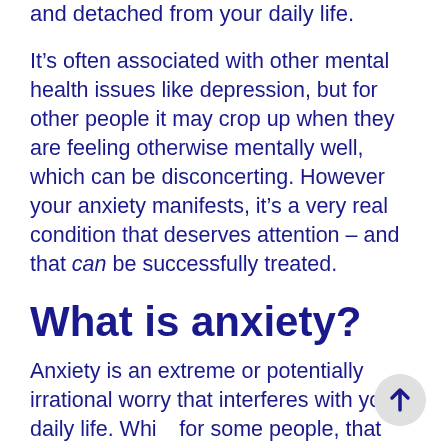and detached from your daily life.
It’s often associated with other mental health issues like depression, but for other people it may crop up when they are feeling otherwise mentally well, which can be disconcerting. However your anxiety manifests, it’s a very real condition that deserves attention – and that can be successfully treated.
What is anxiety?
Anxiety is an extreme or potentially irrational worry that interferes with your daily life. While for some people, that worry may be about a specific issue or concern, for others they may